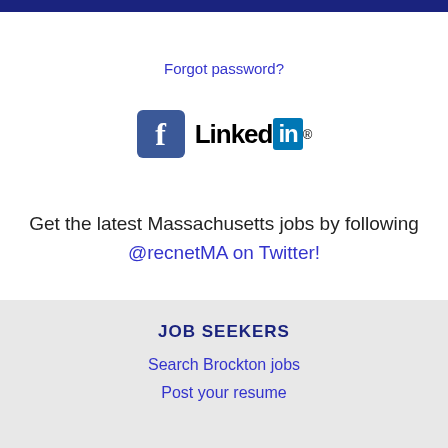Forgot password?
[Figure (logo): Facebook and LinkedIn social media icons/logos]
Get the latest Massachusetts jobs by following @recnetMA on Twitter!
Brockton RSS job feeds
JOB SEEKERS
Search Brockton jobs
Post your resume